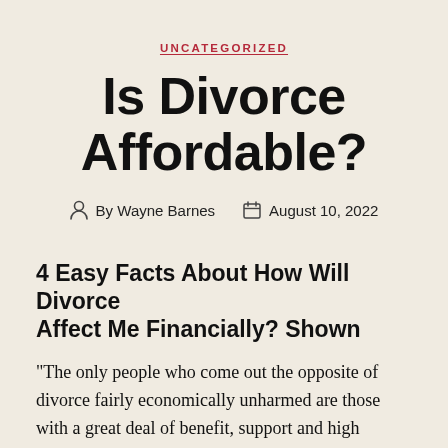UNCATEGORIZED
Is Divorce Affordable?
By Wayne Barnes   August 10, 2022
4 Easy Facts About How Will Divorce Affect Me Financially? Shown
“The only people who come out the opposite of divorce fairly economically unharmed are those with a great deal of benefit, support and high earnings,” says Shannon Lee Simmons, a financial planner in Toronto. So how do the rest of us handle it? We spoke with 3 women who are tackling their post-breakup monetary lives with lowered expectations, parental assistance and a lot of white-